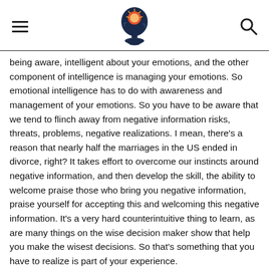[hamburger menu] [brain lightbulb logo] [search icon]
being aware, intelligent about your emotions, and the other component of intelligence is managing your emotions. So emotional intelligence has to do with awareness and management of your emotions. So you have to be aware that we tend to flinch away from negative information risks, threats, problems, negative realizations. I mean, there’s a reason that nearly half the marriages in the US ended in divorce, right? It takes effort to overcome our instincts around negative information, and then develop the skill, the ability to welcome praise those who bring you negative information, praise yourself for accepting this and welcoming this negative information. It’s a very hard counterintuitive thing to learn, as are many things on the wise decision maker show that help you make the wisest decisions. So that’s something that you have to realize is part of your experience.